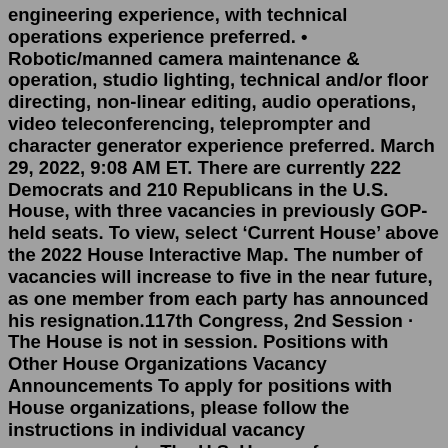engineering experience, with technical operations experience preferred. • Robotic/manned camera maintenance & operation, studio lighting, technical and/or floor directing, non-linear editing, audio operations, video teleconferencing, teleprompter and character generator experience preferred. March 29, 2022, 9:08 AM ET. There are currently 222 Democrats and 210 Republicans in the U.S. House, with three vacancies in previously GOP-held seats. To view, select 'Current House' above the 2022 House Interactive Map. The number of vacancies will increase to five in the near future, as one member from each party has announced his resignation.117th Congress, 2nd Session · The House is not in session. Positions with Other House Organizations Vacancy Announcements To apply for positions with House organizations, please follow the instructions in individual vacancy announcements. The U.S. House of Representatives is an equal opportunity employer.Dec 29, 2020 · Reason for Vacancy, Successor; New York, 22nd: Vacancy due to a Lack of